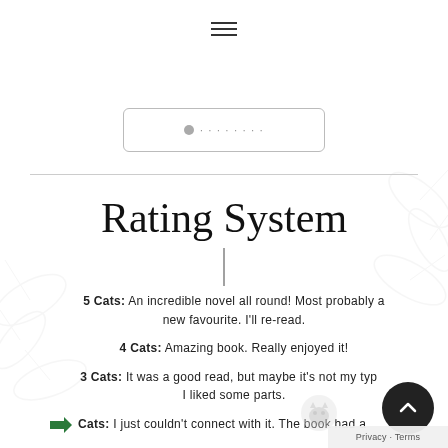[Figure (illustration): Hamburger/menu icon (three horizontal lines) centered at top of page]
[Figure (illustration): Rounded rectangle button with follow/social icon and dotted text, partially visible]
Rating System
5 Cats: An incredible novel all round! Most probably a new favourite. I'll re-read.
4 Cats: Amazing book. Really enjoyed it!
3 Cats: It was a good read, but maybe it's not my type. I liked some parts.
Cats: I just couldn't connect with it. The book had a